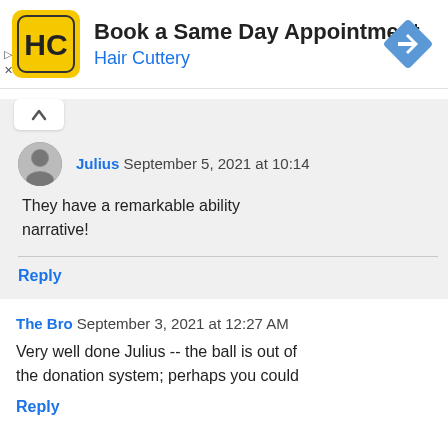[Figure (screenshot): Hair Cuttery advertisement banner with yellow HC logo, text 'Book a Same Day Appointment / Hair Cuttery', and a blue navigation arrow icon. Small play and close controls on the left.]
Julius September 5, 2021 at 10:14
They have a remarkable ability narrative!
Reply
The Bro September 3, 2021 at 12:27 AM
Very well done Julius -- the ball is out of the donation system; perhaps you could
Reply